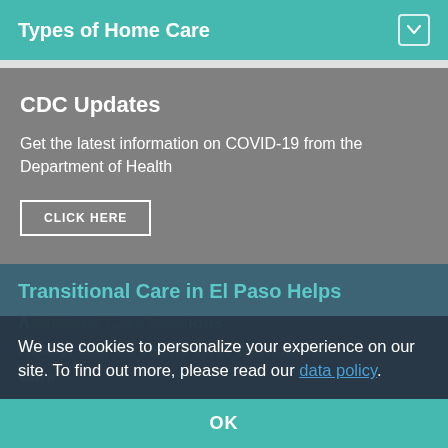Types of Home Care
CDC Updates
Get the latest information on COVID-19 from the Department of Health
CLICK HERE
Transitional Care in El Paso Helps
Ready, Set, Go Home With Transitional Care
We use cookies to personalize your experience on our site. To find out more, please read our data policy.
OK